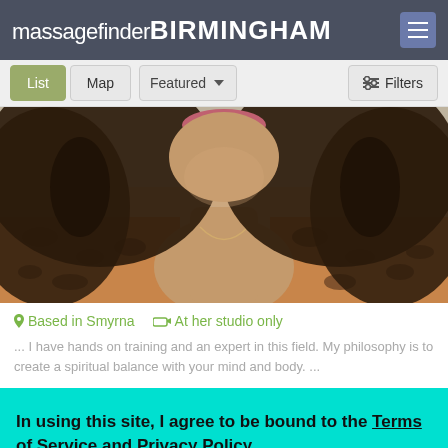massagefinder BIRMINGHAM
[Figure (photo): Close-up photo of a woman with curly dark hair wearing a leopard print top and a necklace, from shoulders up, face cropped at top of frame.]
Based in Smyrna   At her studio only
... I have hands on training and an expert in this field. My philosophy is to create a spiritual balance with your mind and body. ...
In using this site, I agree to be bound to the Terms of Service and Privacy Policy.
Leave    I agree